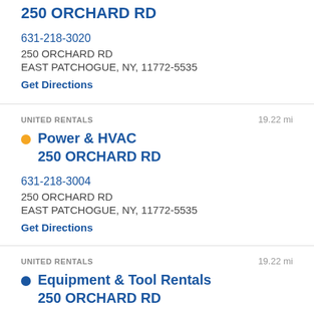250 ORCHARD RD
631-218-3020
250 ORCHARD RD
EAST PATCHOGUE, NY, 11772-5535
Get Directions
UNITED RENTALS   19.22 mi
Power & HVAC
250 ORCHARD RD
631-218-3004
250 ORCHARD RD
EAST PATCHOGUE, NY, 11772-5535
Get Directions
UNITED RENTALS   19.22 mi
Equipment & Tool Rentals
250 ORCHARD RD
631-244-2541
250 ORCHARD RD